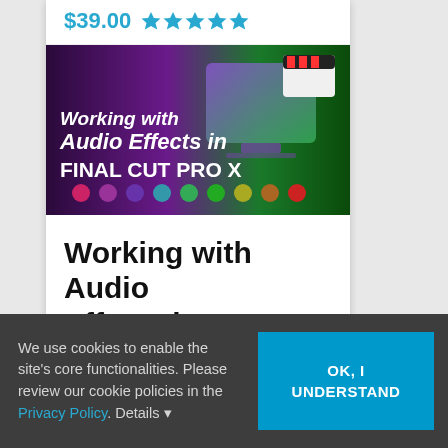$39.00 ★★★★★
[Figure (screenshot): Thumbnail image for 'Working with Audio Effects in Final Cut Pro X' course — dark background with purple/green gradient, clapperboard icon, and stylized text overlay.]
Working with Audio Effects in FCP X
We use cookies to enable the site's core functionalities. Please review our cookie policies in the Privacy Policy. Details ▾
OK, I UNDERSTAND